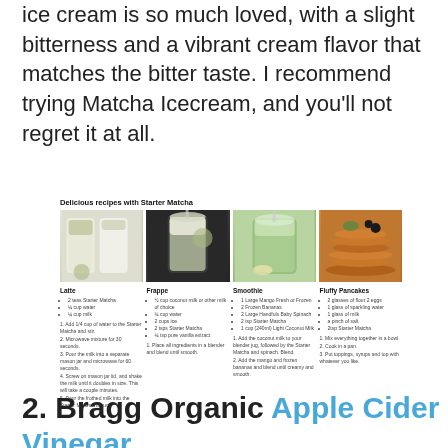Ice cream is so much loved, with a slight bitterness and a vibrant cream flavor that matches the bitter taste. I recommend trying Matcha Icecream, and you'll not regret it at all.
[Figure (infographic): Delicious recipes with Starter Matcha showing four recipe categories: Latte, Frappe, Smoothie, and Fluffy Pancakes with photos and ingredient lists.]
2. Bragg Organic Apple Cider Vinegar